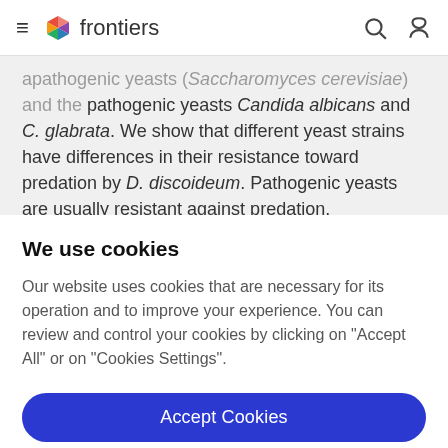frontiers
apathogenic yeasts (Saccharomyces cerevisiae) and the pathogenic yeasts Candida albicans and C. glabrata. We show that different yeast strains have differences in their resistance toward predation by D. discoideum. Pathogenic yeasts are usually resistant against predation.
We use cookies
Our website uses cookies that are necessary for its operation and to improve your experience. You can review and control your cookies by clicking on "Accept All" or on "Cookies Settings".
Accept Cookies
Cookies Settings